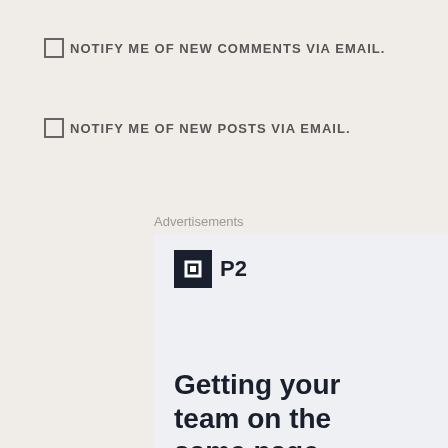NOTIFY ME OF NEW COMMENTS VIA EMAIL.
NOTIFY ME OF NEW POSTS VIA EMAIL.
Advertisements
[Figure (logo): P2 advertisement banner with logo showing a dark square icon with a white square inside, the text 'P2', and tagline 'Getting your team on the same page is easy. And free.']